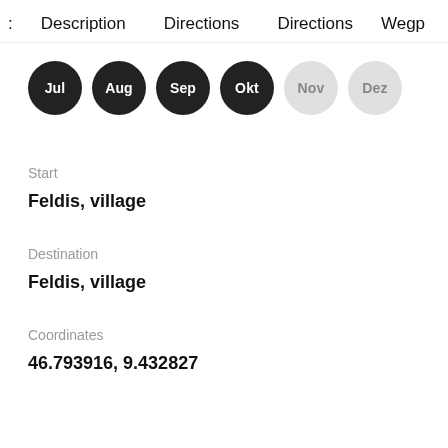Description   Directions   Directions   Wegp
[Figure (infographic): Row of month badges: Jul, Aug, Sep, Okt (dark/active), Nov, Dez (light/inactive)]
Start
Feldis, village
Destination
Feldis, village
Coordinates
46.793916, 9.432827